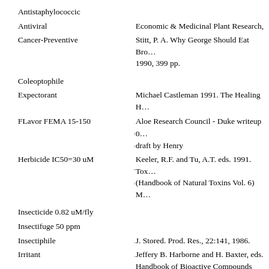Antistaphylococcic
Antiviral
Economic & Medicinal Plant Research,
Cancer-Preventive
Stitt, P. A. Why George Should Eat Broccoli. 1990, 399 pp.
Coleoptophile
Expectorant
Michael Castleman 1991. The Healing Herbs.
FLavor FEMA 15-150
Aloe Research Council - Duke writeup of non-peer reviewed draft by Henry
Herbicide IC50=30 uM
Keeler, R.F. and Tu, A.T. eds. 1991. Toxicology of Plant and Fungal Compounds. (Handbook of Natural Toxins Vol. 6) Ma
Insecticide 0.82 uM/fly
Insectifuge 50 ppm
Insectiphile
J. Stored. Prod. Res., 22:141, 1986.
Irritant
Jeffery B. Harborne and H. Baxter, eds. Handbook of Bioactive Compounds from
P450-2B1-Inhibitor IC50=0.087 uM
Aloe Research Council - Duke writeup of non-peer reviewed draft by Henry
Perfumery
Pesticide
Sedative
Lawrence Review of Natural Products,
Spasmogenic